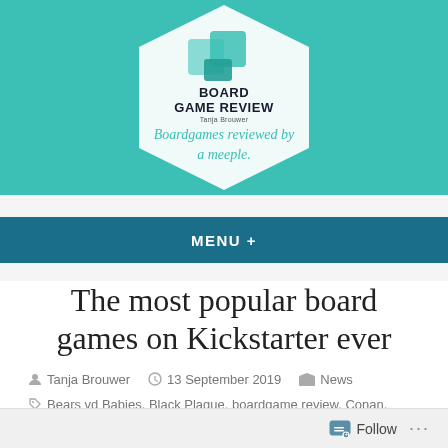[Figure (logo): Board Game Review logo with hexagon shape, teal background, overlapping cube graphics, bold text 'BOARD GAME REVIEW' and subtitle 'Tanja Brouwer'. Tagline: 'Boardgames reviewed by a meeple.']
MENU +
The most popular board games on Kickstarter ever
Tanja Brouwer   13 September 2019   News
Bears vd Babies, Black Plague, boardgame review, Conan,
Follow ...